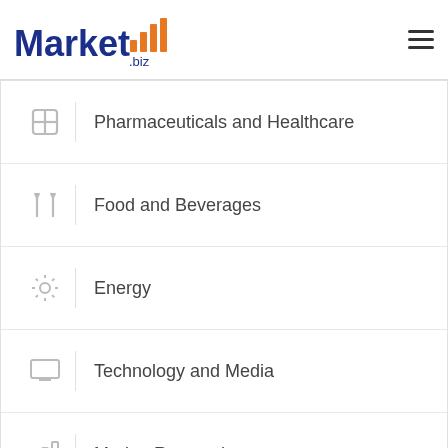Market.biz
Pharmaceuticals and Healthcare
Food and Beverages
Energy
Technology and Media
Market Research
All Categories
Company
About Us
Contact Us